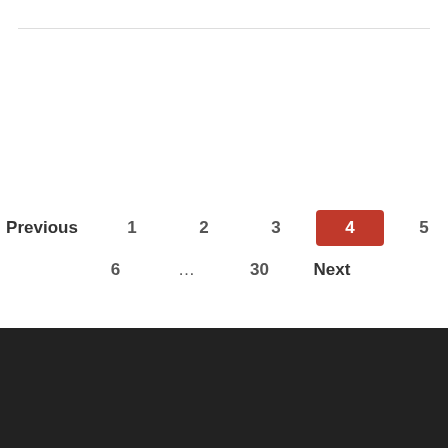Previous 1 2 3 4 5 6 ... 30 Next
© 2022 Bodhi.